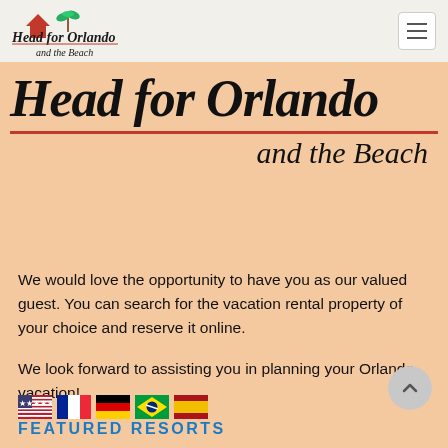Head for Orlando and the Beach
Head for Orlando and the Beach
We would love the opportunity to have you as our valued guest. You can search for the vacation rental property of your choice and reserve it online.
We look forward to assisting you in planning your Orlando vacation!
[Figure (illustration): Row of 5 country flag icons: USA, France, Germany, Brazil, Spain]
FEATURED RESORTS